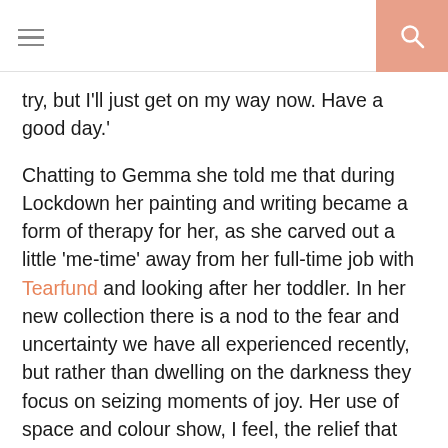≡ [search icon]
try, but I'll just get on my way now. Have a good day.'
Chatting to Gemma she told me that during Lockdown her painting and writing became a form of therapy for her, as she carved out a little 'me-time' away from her full-time job with Tearfund and looking after her toddler. In her new collection there is a nod to the fear and uncertainty we have all experienced recently, but rather than dwelling on the darkness they focus on seizing moments of joy. Her use of space and colour show, I feel, the relief that taking time out to be creative afforded her, and when I look at them I see a sense of  lightness and levity. Flip me, couldn't we all use a bit of that right now?!